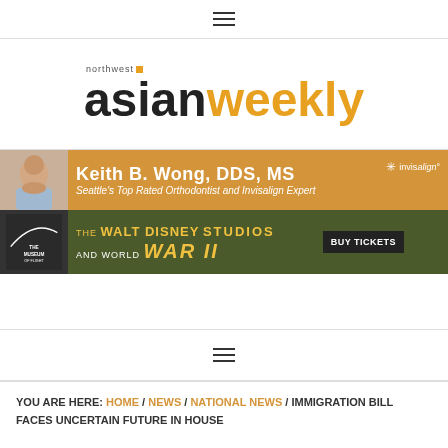[Figure (other): Hamburger menu icon (three horizontal lines)]
[Figure (logo): Northwest Asian Weekly logo — 'northwest' in small gray text with orange square, 'asian' in bold black and 'weekly' in bold orange]
[Figure (other): Advertisement banner for Keith B. Wong, DDS, MS — Seattle's Top Rated Orthodontist and Invisalign Expert, with photo of man and Invisalign logo]
[Figure (other): Advertisement banner for The Museum of Flight — The Walt Disney Studios and World War II, with bee graphic and BUY TICKETS button]
[Figure (other): Hamburger menu icon (three horizontal lines)]
YOU ARE HERE: HOME / NEWS / NATIONAL NEWS / IMMIGRATION BILL FACES UNCERTAIN FUTURE IN HOUSE